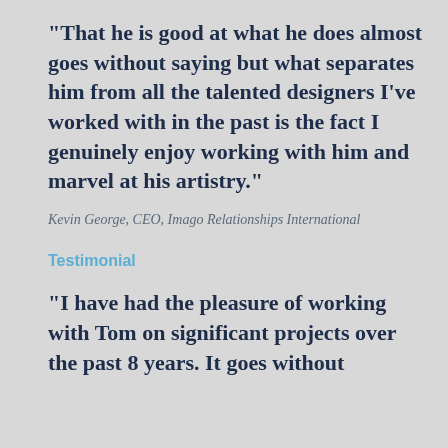"That he is good at what he does almost goes without saying but what separates him from all the talented designers I've worked with in the past is the fact I genuinely enjoy working with him and marvel at his artistry."
Kevin George, CEO, Imago Relationships International
Testimonial
"I have had the pleasure of working with Tom on significant projects over the past 8 years. It goes without